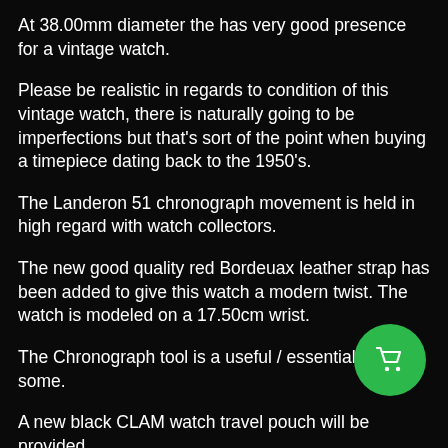At 38.00mm diameter the has very good presence for a vintage watch.
Please be realistic in regards to condition of this vintage watch, there is naturally going to be imperfections but that's sort of the point when buying a timepiece dating back to the 1950's.
The Landeron 51 chronograph movement is held in high regard with watch collectors.
The new good quality red Bordeuax leather strap has been added to give this watch a modern twist. The watch is modeled on a 17.50cm wrist.
The Chronograph tool is a useful / essential tool for some.
A new black CLAM watch travel pouch will be provided.